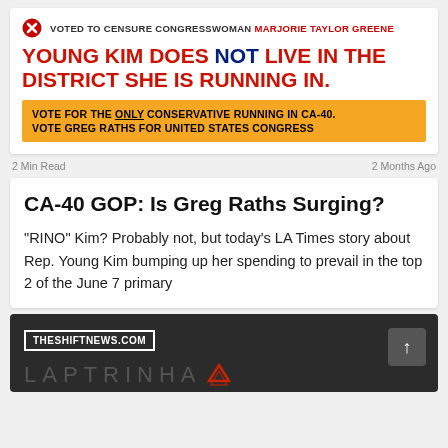[Figure (infographic): Political ad: Red X icon followed by text 'VOTED TO CENSURE CONGRESSWOMAN MARJORIE TAYLOR GREENE'. Large red and navy headline: 'YOUNG KIM DOES NOT LIVE IN THE DISTRICT SHE IS RUNNING IN.' Orange box with text: 'VOTE FOR THE ONLY CONSERVATIVE RUNNING IN CA-40. VOTE GREG RATHS FOR UNITED STATES CONGRESS']
2 Min Read    2 Months Ago
CA-40 GOP: Is Greg Raths Surging?
“RINO” Kim? Probably not, but today’s LA Times story about Rep. Young Kim bumping up her spending to prevail in the top 2 of the June 7 primary
[Figure (logo): Dark gray card with THESHIFTNEWS.COM label in white border, up-arrow button, and partial LAPTRINHA logo text at bottom]